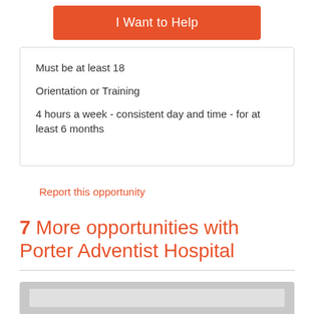I Want to Help
Must be at least 18
Orientation or Training
4 hours a week - consistent day and time - for at least 6 months
Report this opportunity
7 More opportunities with Porter Adventist Hospital
[Figure (other): Gray placeholder card at the bottom of the page]